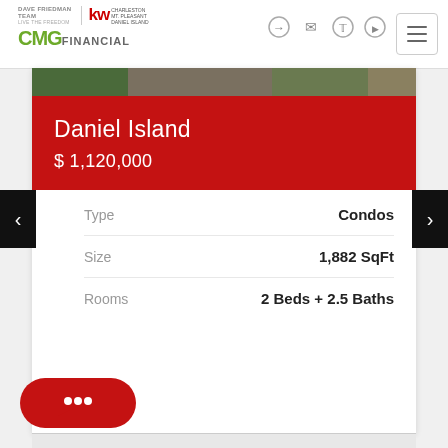[Figure (logo): Dave Friedman Team and Keller Williams logo with CMG Financial logo]
Daniel Island
$ 1,120,000
|  |  |
| --- | --- |
| Type | Condos |
| Size | 1,882 SqFt |
| Rooms | 2 Beds + 2.5 Baths |